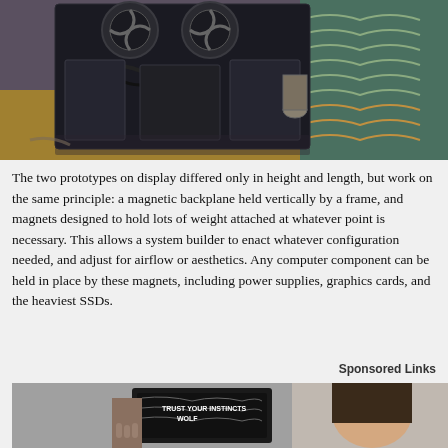[Figure (photo): A black electronic/computer hardware prototype with fans, cables, and metal components displayed on a reflective surface in a room with patterned carpet.]
The two prototypes on display differed only in height and length, but work on the same principle: a magnetic backplane held vertically by a frame, and magnets designed to hold lots of weight attached at whatever point is necessary. This allows a system builder to enact whatever configuration needed, and adjust for airflow or aesthetics. Any computer component can be held in place by these magnets, including power supplies, graphics cards, and the heaviest SSDs.
Sponsored Links
[Figure (photo): A woman wearing black and white patterned clothing with text 'TRUST YOUR INSTINCTS' and 'WOLF' branding.]